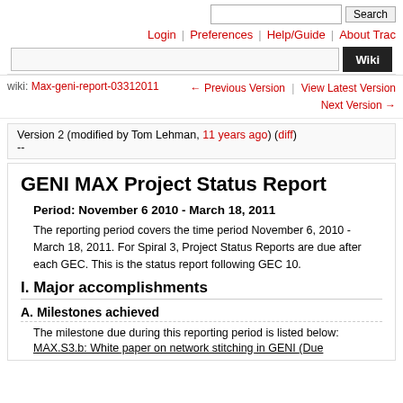Search | Login | Preferences | Help/Guide | About Trac | Wiki
wiki: Max-geni-report-03312011 | ← Previous Version | View Latest Version | Next Version →
Version 2 (modified by Tom Lehman, 11 years ago) (diff)
--
GENI MAX Project Status Report
Period: November 6 2010 - March 18, 2011
The reporting period covers the time period November 6, 2010 - March 18, 2011. For Spiral 3, Project Status Reports are due after each GEC. This is the status report following GEC 10.
I. Major accomplishments
A. Milestones achieved
The milestone due during this reporting period is listed below:
MAX.S3.b: White paper on network stitching in GENI (Due 3/31/11)